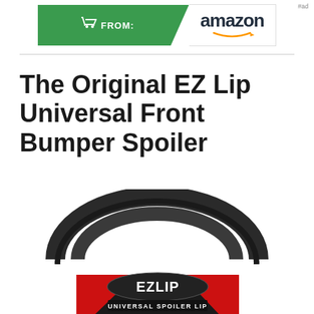[Figure (logo): Amazon 'Buy From' banner ad with green cart icon section and Amazon logo with orange smile on white section, '#ad' label in top right]
The Original EZ Lip Universal Front Bumper Spoiler
[Figure (photo): EZ Lip Universal Front Bumper Spoiler product photo showing a coiled black rubber spoiler lip with red and black product packaging label reading 'EZLIP UNIVERSAL SPOILER LIP']